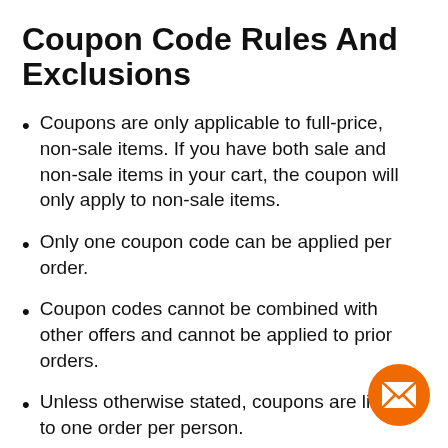Coupon Code Rules And Exclusions
Coupons are only applicable to full-price, non-sale items. If you have both sale and non-sale items in your cart, the coupon will only apply to non-sale items.
Only one coupon code can be applied per order.
Coupon codes cannot be combined with other offers and cannot be applied to prior orders.
Unless otherwise stated, coupons are limited to one order per person.
Coupons and offers are valid for a limited time only. Exclusions apply. Examples of exclusions are Coaxsher products and special orders